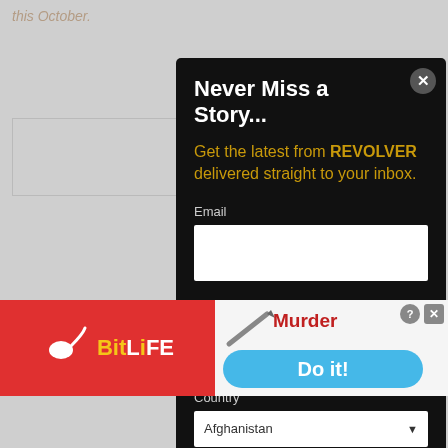this October.
[Figure (screenshot): Newsletter signup modal overlay on a website. Modal has black background with title 'Never Miss a Story...', golden subtext 'Get the latest from REVOLVER delivered straight to your inbox.', Email input field, Postal Code input field, Country dropdown set to Afghanistan, and a close button. Background shows partial website content including 'NEVER' heading, 'Sign up to... your inbox.' text, and email address field. Bottom of page has two advertisement banners: left one is BitLife app ad on red background, right one shows a game ad with 'Murder' text and 'Do it!' button.]
NEVER
Sign up to ... your inbox.
Email A...
BitLife
Murder
Do it!